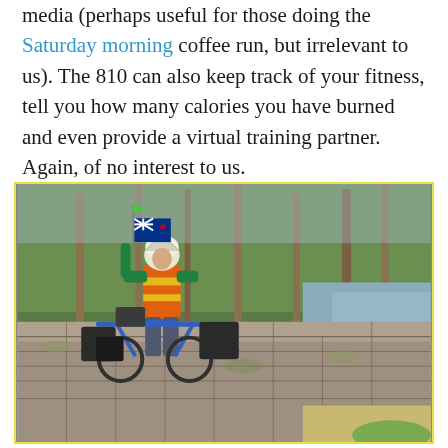media (perhaps useful for those doing the Saturday morning coffee run, but irrelevant to us). The 810 can also keep track of your fitness, tell you how many calories you have burned and even provide a virtual training partner. Again, of no interest to us.
[Figure (photo): A cyclist wearing an orange and yellow high-visibility vest and helmet stands next to a loaded touring bicycle on an old stone bridge. A New Zealand flag is attached to the bike. Green trees and a river are visible in the background.]